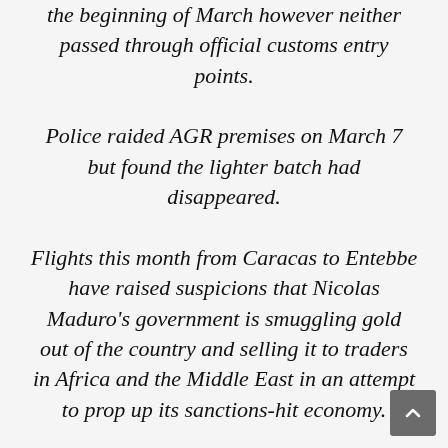the beginning of March however neither passed through official customs entry points. Police raided AGR premises on March 7 but found the lighter batch had disappeared. Flights this month from Caracas to Entebbe have raised suspicions that Nicolas Maduro's government is smuggling gold out of the country and selling it to traders in Africa and the Middle East in an attempt to prop up its sanctions-hit economy. An airline source told The Times that a